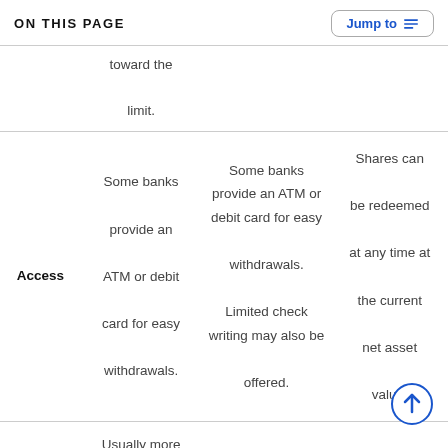ON THIS PAGE
|  | Col1 | Col2 | Col3 |
| --- | --- | --- | --- |
|  | toward the limit. |  |  |
| Access | Some banks provide an ATM or debit card for easy withdrawals. | Some banks provide an ATM or debit card for easy withdrawals. Limited check writing may also be offered. | Shares can be redeemed at any time at the current net asset value. |
|  | Usually more than a |  | Pay less than |